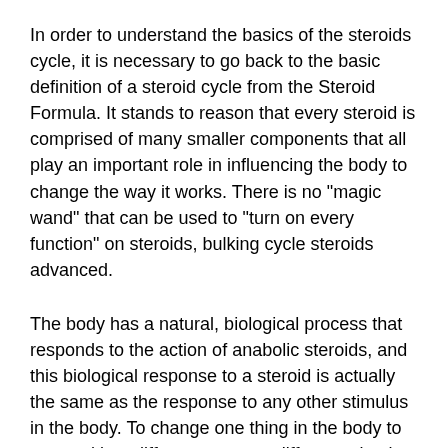In order to understand the basics of the steroids cycle, it is necessary to go back to the basic definition of a steroid cycle from the Steroid Formula. It stands to reason that every steroid is comprised of many smaller components that all play an important role in influencing the body to change the way it works. There is no "magic wand" that can be used to "turn on every function" on steroids, bulking cycle steroids advanced.
The body has a natural, biological process that responds to the action of anabolic steroids, and this biological response to a steroid is actually the same as the response to any other stimulus in the body. To change one thing in the body to respond in a different way to a different stimulus, is in effect to change the body itself, bulking cutting plan.